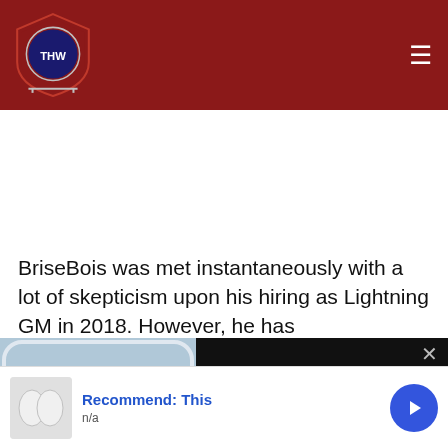THW - The Hockey Writers
BriseBois was met instantaneously with a lot of skepticism upon his hiring as Lightning GM in 2018. However, he has
[Figure (screenshot): Video thumbnail showing a hockey player on ice rink with overlay panel titled '2022-2023 OHL Futures Watch – North Bay Battalion' and a close button]
2022-2023 OHL Futures Watch – North Bay Battalion
Recommend: This
n/a